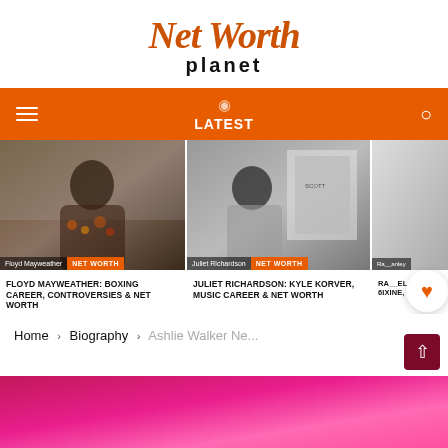[Figure (logo): Net Worth Planet logo — stylized orange script 'Net Worth' with black bold 'planet' below]
LATEST
[Figure (photo): Floyd Mayweather sitting in a floral jacket against a tile wall]
[Figure (photo): Juliet Richardson looking down, near album covers]
[Figure (photo): Partial image of Ra__el W person]
FLOYD MAYWEATHER: BOXING CAREER, CONTROVERSIES & NET WORTH
JULIET RICHARDSON: KYLE KORVER, MUSIC CAREER & NET WORTH
RA__EL W 6IXINE, C
Home › Biography › Ashlie Walker Ne...
[Figure (photo): Bottom pink/magenta banner with 'amazon mu' text]